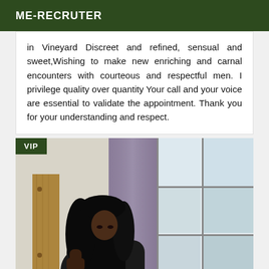ME-RECRUTER
in Vineyard Discreet and refined, sensual and sweet,Wishing to make new enriching and carnal encounters with courteous and respectful men. I privilege quality over quantity Your call and your voice are essential to validate the appointment. Thank you for your understanding and respect.
[Figure (photo): Photo of a woman with dark hair looking down, standing near a window with purple curtain and wooden panel visible. VIP badge in top-left corner.]